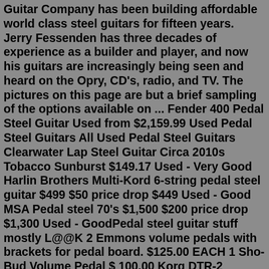Guitar Company has been building affordable world class steel guitars for fifteen years. Jerry Fessenden has three decades of experience as a builder and player, and now his guitars are increasingly being seen and heard on the Opry, CD's, radio, and TV. The pictures on this page are but a brief sampling of the options available on ... Fender 400 Pedal Steel Guitar Used from $2,159.99 Used Pedal Steel Guitars All Used Pedal Steel Guitars Clearwater Lap Steel Guitar Circa 2010s Tobacco Sunburst $149.17 Used - Very Good Harlin Brothers Multi-Kord 6-string pedal steel guitar $499 $50 price drop $449 Used - Good MSA Pedal steel 70's $1,500 $200 price drop $1,300 Used - GoodPedal steel guitar stuff mostly L@@K 2 Emmons volume pedals with brackets for pedal board. $125.00 EACH 1 Sho-Bud Volume Pedal $ 100.00 Korg DTR-2 Tuner... Music instruments Columbus 125 $ "Steel Guitar Buyer's Guide" (Selecting & Purchasing any brand of steel guitar) "Pedal Steel Guitar Illustrated" (learn the various parts in a steel guitar) "The Steel Guitar Information